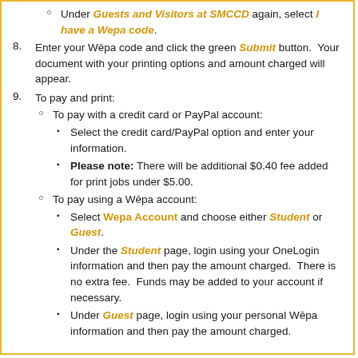Under Guests and Visitors at SMCCD again, select I have a Wepa code.
8. Enter your Wēpa code and click the green Submit button. Your document with your printing options and amount charged will appear.
9. To pay and print:
To pay with a credit card or PayPal account:
Select the credit card/PayPal option and enter your information.
Please note: There will be additional $0.40 fee added for print jobs under $5.00.
To pay using a Wēpa account:
Select Wepa Account and choose either Student or Guest.
Under the Student page, login using your OneLogin information and then pay the amount charged. There is no extra fee. Funds may be added to your account if necessary.
Under Guest page, login using your personal Wēpa information and then pay the amount charged.